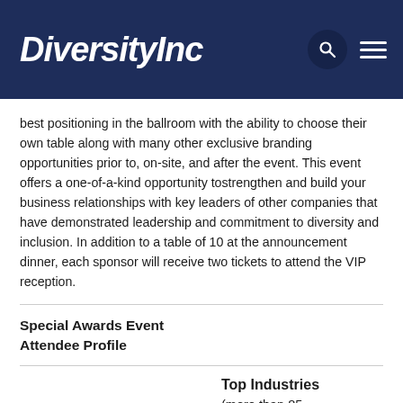DiversityInc
best positioning in the ballroom with the ability to choose their own table along with many other exclusive branding opportunities prior to, on-site, and after the event. This event offers a one-of-a-kind opportunity tostrengthen and build your business relationships with key leaders of other companies that have demonstrated leadership and commitment to diversity and inclusion. In addition to a table of 10 at the announcement dinner, each sponsor will receive two tickets to attend the VIP reception.
Special Awards Event Attendee Profile
Top Industries (more than 85 companies in